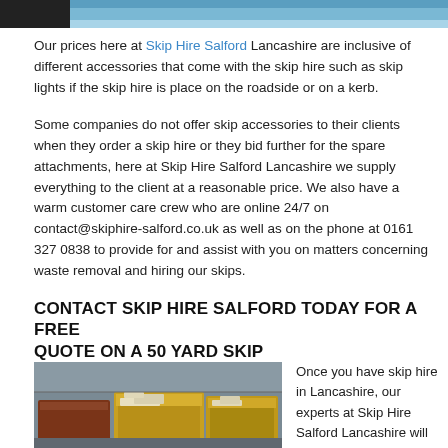[Figure (photo): Top of page image: partial photo of a person on left (dark), blue/light background on right]
Our prices here at Skip Hire Salford Lancashire are inclusive of different accessories that come with the skip hire such as skip lights if the skip hire is place on the roadside or on a kerb.
Some companies do not offer skip accessories to their clients when they order a skip hire or they bid further for the spare attachments, here at Skip Hire Salford Lancashire we supply everything to the client at a reasonable price. We also have a warm customer care crew who are online 24/7 on contact@skiphire-salford.co.uk as well as on the phone at 0161 327 0838 to provide for and assist with you on matters concerning waste removal and hiring our skips.
CONTACT SKIP HIRE SALFORD TODAY FOR A FREE QUOTE ON A 50 YARD SKIP
[Figure (photo): Two yellow skip bins on a driveway/yard, debris inside, industrial background]
Once you have skip hire in Lancashire, our experts at Skip Hire Salford Lancashire will deal with